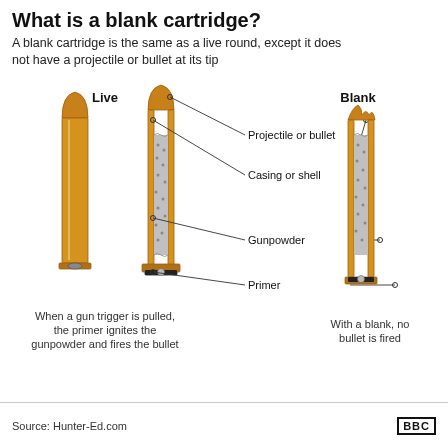What is a blank cartridge?
A blank cartridge is the same as a live round, except it does not have a projectile or bullet at its tip
[Figure (illustration): Diagram showing three cartridges side by side: a live round (left, solid), a cutaway view of a live round (center, showing internal components labeled: Projectile or bullet, Casing or shell, Gunpowder, Primer), and a blank cartridge (right, cutaway, same labels for Casing or shell, Gunpowder, Primer but no bullet/projectile at top). Labels connect to parts with lines and dots. Below the live round cutaway: 'When a gun trigger is pulled, the primer ignites the gunpowder and fires the bullet'. Below the blank: 'With a blank, no bullet is fired'. Column headers: 'Live' (above left cartridges) and 'Blank' (above right cartridge).]
Source: Hunter-Ed.com    BBC